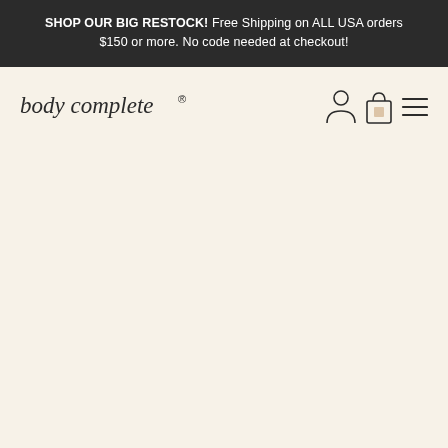SHOP OUR BIG RESTOCK! Free Shipping on ALL USA orders $150 or more. No code needed at checkout!
[Figure (logo): body complete logo with registered trademark symbol, italic serif font]
[Figure (infographic): Navigation icons: user account icon, shopping bag icon with item count 0, hamburger menu icon]